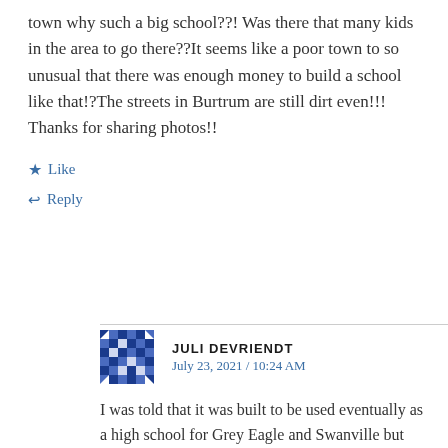town why such a big school??! Was there that many kids in the area to go there??It seems like a poor town to so unusual that there was enough money to build a school like that!?The streets in Burtrum are still dirt even!!! Thanks for sharing photos!!
★ Like
↩ Reply
JULI DEVRIENDT
July 23, 2021 / 10:24 AM
I was told that it was built to be used eventually as a high school for Grey Eagle and Swanville but that never happened.
On Mon, Jul 19, 2021 at 10:40 PM Abandoned